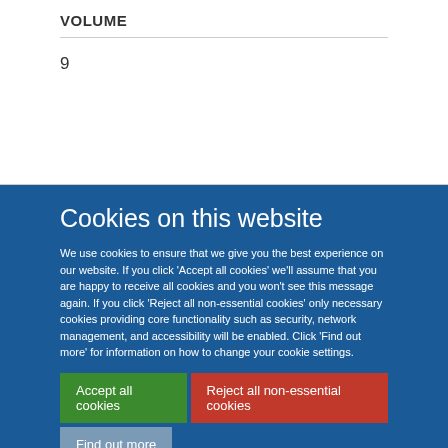VOLUME
9
Cookies on this website
We use cookies to ensure that we give you the best experience on our website. If you click 'Accept all cookies' we'll assume that you are happy to receive all cookies and you won't see this message again. If you click 'Reject all non-essential cookies' only necessary cookies providing core functionality such as security, network management, and accessibility will be enabled. Click 'Find out more' for information on how to change your cookie settings.
Accept all cookies
Reject all non-essential cookies
Find out more